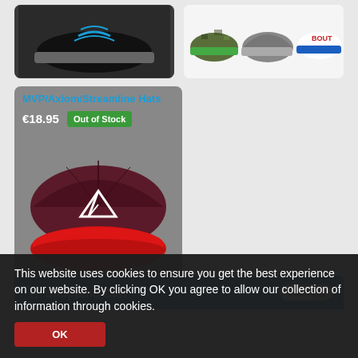[Figure (photo): Black snapback hat with blue logo, gray brim, on dark background]
[Figure (photo): Multiple hats including camo, gray, and red/white snapbacks on white background]
MVP/Axiom/Streamline Hats
€18.95
Out of Stock
[Figure (photo): Red and dark blue snapback hat with Axiom triangle logo on brim]
🛒 Shopping Cart  0item(s)
This website uses cookies to ensure you get the best experience on our website. By clicking OK you agree to allow our collection of information through cookies.
OK